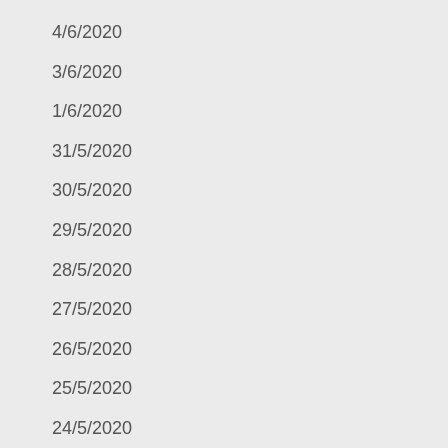4/6/2020
3/6/2020
1/6/2020
31/5/2020
30/5/2020
29/5/2020
28/5/2020
27/5/2020
26/5/2020
25/5/2020
24/5/2020
23/5/2020